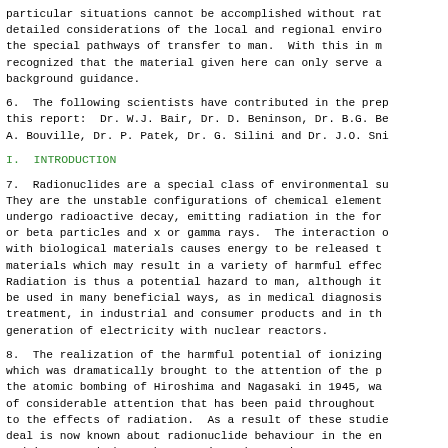particular situations cannot be accomplished without rather detailed considerations of the local and regional environment and the special pathways of transfer to man.  With this in mind, it is recognized that the material given here can only serve as background guidance.
6.  The following scientists have contributed in the preparation of this report:  Dr. W.J. Bair, Dr. D. Beninson, Dr. B.G. Bennett, Dr. A. Bouville, Dr. P. Patek, Dr. G. Silini and Dr. J.O. Snihs.
I.  INTRODUCTION
7.  Radionuclides are a special class of environmental substances. They are the unstable configurations of chemical elements that undergo radioactive decay, emitting radiation in the form of alpha or beta particles and x or gamma rays.  The interaction of radiation with biological materials causes energy to be released to these materials which may result in a variety of harmful effects. Radiation is thus a potential hazard to man, although it can also be used in many beneficial ways, as in medical diagnosis and treatment, in industrial and consumer products and in the generation of electricity with nuclear reactors.
8.  The realization of the harmful potential of ionizing radiation, which was dramatically brought to the attention of the public by the atomic bombing of Hiroshima and Nagasaki in 1945, was the cause of considerable attention that has been paid throughout the world to the effects of radiation.  As a result of these studies, a great deal is now known about radionuclide behaviour in the environment and in man and about the somatic and genetic consequences of irradiation.  This information surpasses by far that rela...